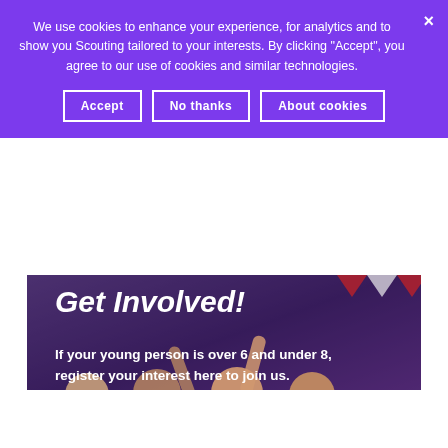We use cookies to enhance your experience, for analytics and to show you Scouting tailored to your interests. By clicking "Accept", you agree to our use of cookies and similar technologies.
Accept
No thanks
About cookies
Get Involved!
If your young person is over 6 and under 8, register your interest here to join us.
Get Involved